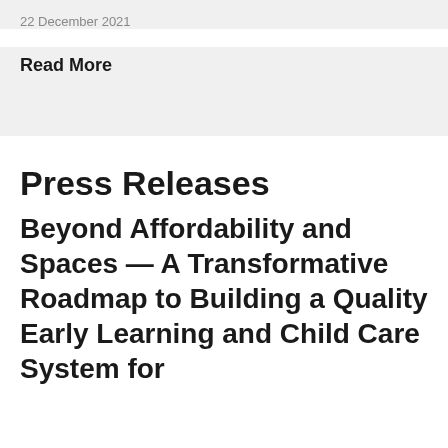22 December 2021
Read More
Press Releases
Beyond Affordability and Spaces — A Transformative Roadmap to Building a Quality Early Learning and Child Care System for